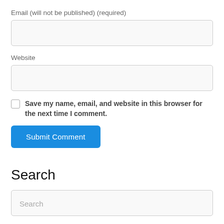Email (will not be published) (required)
[Figure (other): Empty email input text field]
Website
[Figure (other): Empty website input text field]
Save my name, email, and website in this browser for the next time I comment.
[Figure (other): Submit Comment button (blue)]
Search
[Figure (other): Search input text field with placeholder text 'Search']
Subscribe to my Newsletter